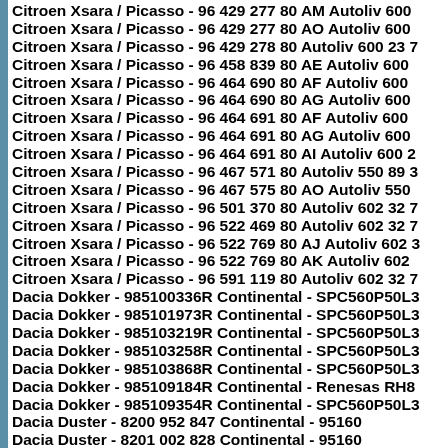Citroen Xsara / Picasso - 96 429 277 80 AM Autoliv 600
Citroen Xsara / Picasso - 96 429 277 80 AO Autoliv 600
Citroen Xsara / Picasso - 96 429 278 80 Autoliv 600 23 7
Citroen Xsara / Picasso - 96 458 839 80 AE Autoliv 600
Citroen Xsara / Picasso - 96 464 690 80 AF Autoliv 600
Citroen Xsara / Picasso - 96 464 690 80 AG Autoliv 600
Citroen Xsara / Picasso - 96 464 691 80 AF Autoliv 600
Citroen Xsara / Picasso - 96 464 691 80 AG Autoliv 600
Citroen Xsara / Picasso - 96 464 691 80 AI Autoliv 600 2
Citroen Xsara / Picasso - 96 467 571 80 Autoliv 550 89 3
Citroen Xsara / Picasso - 96 467 575 80 AO Autoliv 550
Citroen Xsara / Picasso - 96 501 370 80 Autoliv 602 32 7
Citroen Xsara / Picasso - 96 522 469 80 Autoliv 602 32 7
Citroen Xsara / Picasso - 96 522 769 80 AJ Autoliv 602 3
Citroen Xsara / Picasso - 96 522 769 80 AK Autoliv 602
Citroen Xsara / Picasso - 96 591 119 80 Autoliv 602 32 7
Dacia Dokker - 985100336R Continental - SPC560P50L3
Dacia Dokker - 985101973R Continental - SPC560P50L3
Dacia Dokker - 985103219R Continental - SPC560P50L3
Dacia Dokker - 985103258R Continental - SPC560P50L3
Dacia Dokker - 985103868R Continental - SPC560P50L3
Dacia Dokker - 985109184R Continental - Renesas RH8
Dacia Dokker - 985109354R Continental - SPC560P50L3
Dacia Duster - 8200 952 847 Continental - 95160
Dacia Duster - 8201 002 828 Continental - 95160
Dacia Duster - 8201 102 334 Continental - 95160